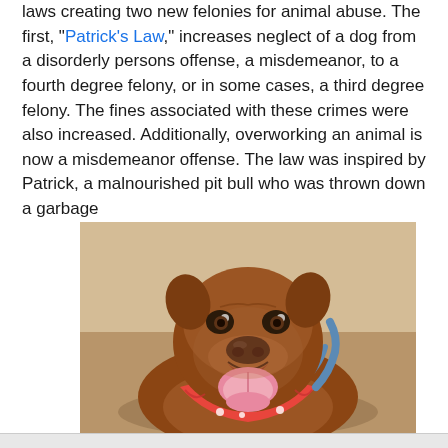laws creating two new felonies for animal abuse. The first, "Patrick's Law," increases neglect of a dog from a disorderly persons offense, a misdemeanor, to a fourth degree felony, or in some cases, a third degree felony. The fines associated with these crimes were also increased. Additionally, overworking an animal is now a misdemeanor offense. The law was inspired by Patrick, a malnourished pit bull who was thrown down a garbage
[Figure (photo): A brown pit bull dog smiling with tongue out, wearing a red and white polka dot bandana and a blue harness, lying down.]